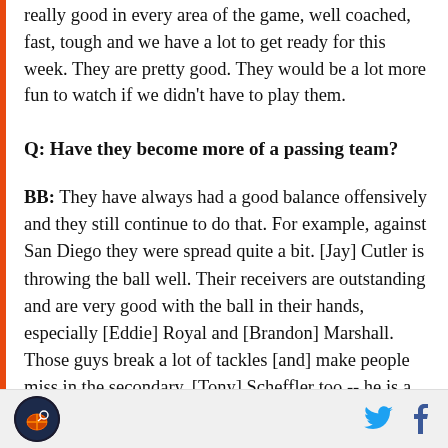really good in every area of the game, well coached, fast, tough and we have a lot to get ready for this week. They are pretty good. They would be a lot more fun to watch if we didn't have to play them.
Q: Have they become more of a passing team?
BB: They have always had a good balance offensively and they still continue to do that. For example, against San Diego they were spread quite a bit. [Jay] Cutler is throwing the ball well. Their receivers are outstanding and are very good with the ball in their hands, especially [Eddie] Royal and [Brandon] Marshall. Those guys break a lot of tackles [and] make people miss in the secondary. [Tony] Scheffler too -- he is a receiver playing tight